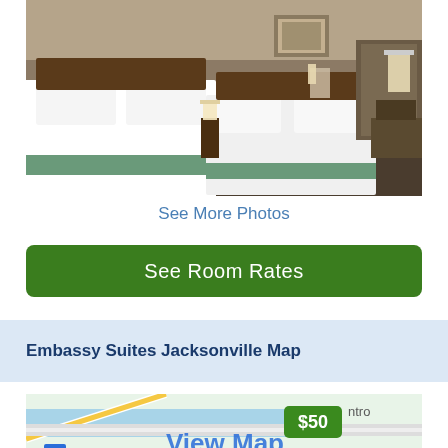[Figure (photo): Hotel room with two double beds with white linens and green bed skirts, dark wood headboard, nightstand with lamp, framed artwork on wall, patterned carpet, desk area visible in background.]
See More Photos
See Room Rates
Embassy Suites Jacksonville Map
[Figure (map): Map preview showing street map with a green price marker showing $50 and 'View Map' text overlay. Road 14 visible in lower left.]